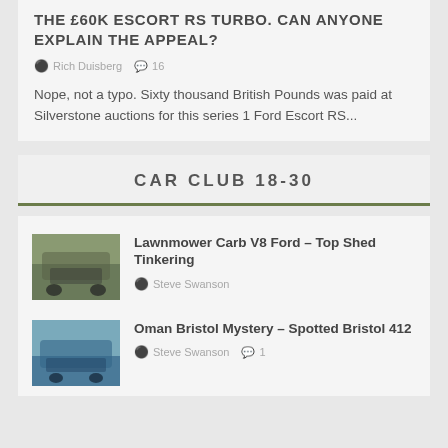THE £60K ESCORT RS TURBO. CAN ANYONE EXPLAIN THE APPEAL?
Rich Duisberg  16
Nope, not a typo. Sixty thousand British Pounds was paid at Silverstone auctions for this series 1 Ford Escort RS...
CAR CLUB 18-30
Lawnmower Carb V8 Ford – Top Shed Tinkering
Steve Swanson
Oman Bristol Mystery – Spotted Bristol 412
Steve Swanson  1